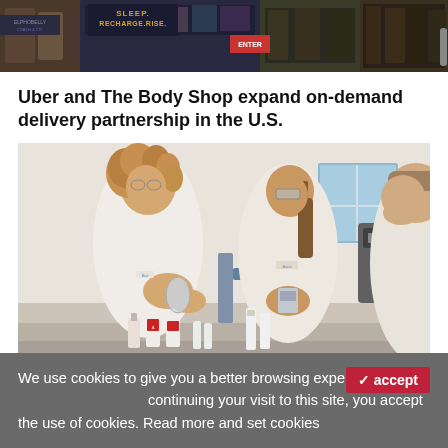[Figure (photo): Top banner image showing store shelves with supplements and products, with text 'SLEEP. RECHARGE. RISE.' visible on packaging]
Uber and The Body Shop expand on-demand delivery partnership in the U.S.
[Figure (photo): Three people in white lab coats working in a laboratory setting, examining small product containers and vials on a lab bench]
We use cookies to give you a better browsing experience. By continuing your visit to this site, you accept the use of cookies. Read more and set cookies